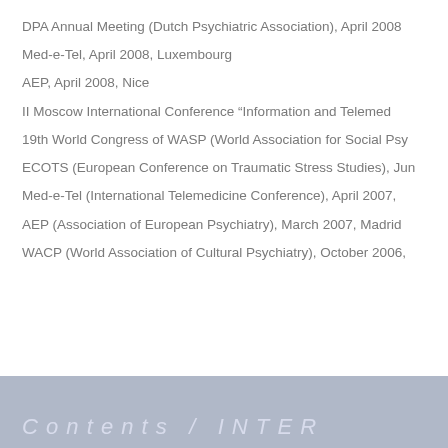DPA Annual Meeting (Dutch Psychiatric Association), April 2008
Med-e-Tel, April 2008, Luxembourg
AEP, April 2008, Nice
II Moscow International Conference “Information and Telemed…
19th World Congress of WASP (World Association for Social Psy…
ECOTS (European Conference on Traumatic Stress Studies), Jun…
Med-e-Tel (International Telemedicine Conference), April 2007,…
AEP (Association of European Psychiatry), March 2007, Madrid
WACP (World Association of Cultural Psychiatry), October 2006,…
C o n t e n t s / I N T E R …